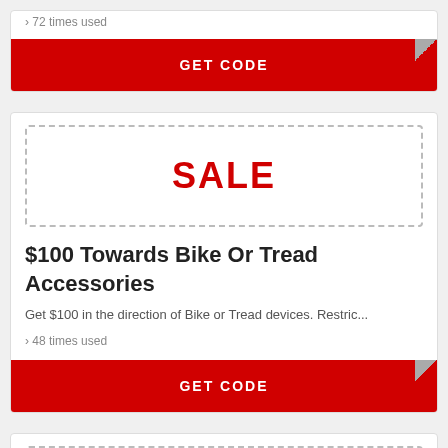72 times used
GET CODE
[Figure (other): Coupon card with SALE label and GET CODE button for $100 Towards Bike Or Tread Accessories]
$100 Towards Bike Or Tread Accessories
Get $100 in the direction of Bike or Tread devices. Restric...
48 times used
GET CODE